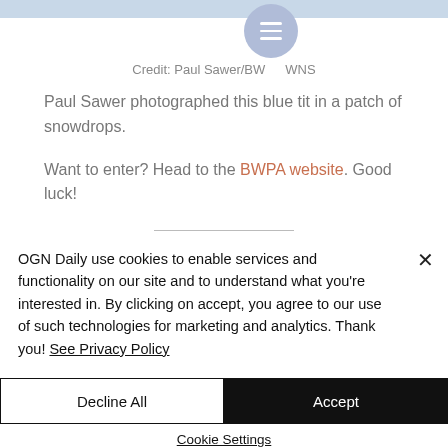[Figure (photo): Top strip of a photo, likely showing blue tit in snowdrops, partially visible]
Credit: Paul Sawer/BWPA/BWNS
Paul Sawer photographed this blue tit in a patch of snowdrops.
Want to enter? Head to the BWPA website. Good luck!
OGN Daily use cookies to enable services and functionality on our site and to understand what you're interested in. By clicking on accept, you agree to our use of such technologies for marketing and analytics. Thank you! See Privacy Policy
Decline All
Accept
Cookie Settings